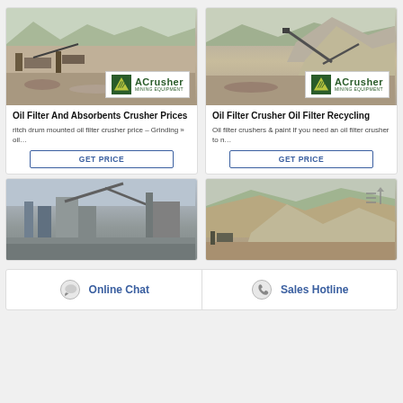[Figure (photo): Quarry/mining site with conveyor equipment and ACrusher Mining Equipment logo badge]
Oil Filter And Absorbents Crusher Prices
ritch drum mounted oil filter crusher price – Grinding » oil…
[Figure (photo): Quarry/mining site with rock piles and conveyor equipment and ACrusher Mining Equipment logo badge]
Oil Filter Crusher Oil Filter Recycling
Oil filter crushers & paint If you need an oil filter crusher to n…
[Figure (photo): Industrial mining/crushing facility with machinery and conveyors]
[Figure (photo): Quarry/mining hillside scene with equipment, sort icon overlay]
Online Chat
Sales Hotline